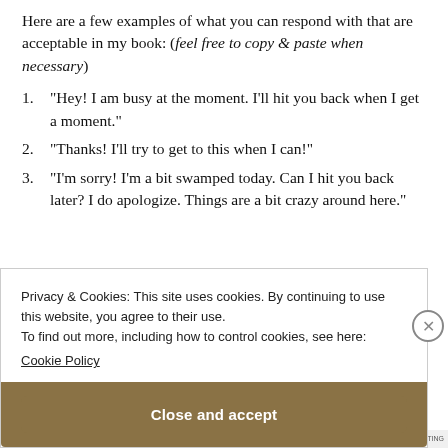Here are a few examples of what you can respond with that are acceptable in my book: (feel free to copy & paste when necessary)
“Hey! I am busy at the moment. I’ll hit you back when I get a moment.”
“Thanks! I’ll try to get to this when I can!”
“I’m sorry! I’m a bit swamped today. Can I hit you back later? I do apologize. Things are a bit crazy around here.”
Privacy & Cookies: This site uses cookies. By continuing to use this website, you agree to their use. To find out more, including how to control cookies, see here: Cookie Policy
Close and accept